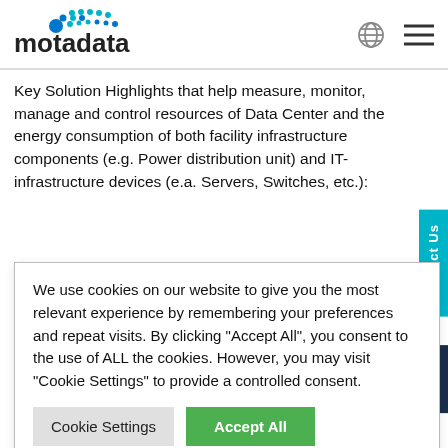[Figure (logo): Motadata logo with blue dots and text]
Key Solution Highlights that help measure, monitor, manage and control resources of Data Center and the energy consumption of both facility infrastructure components (e.g. Power distribution unit) and IT-infrastructure devices (e.a. Servers, Switches, etc.):
We use cookies on our website to give you the most relevant experience by remembering your preferences and repeat visits. By clicking "Accept All", you consent to the use of ALL the cookies. However, you may visit "Cookie Settings" to provide a controlled consent.
Cookie Settings | Accept All
...lete ...Center ...vs IT admins to ...oased on .
...is future-ready ...ever-growing, ...s. Motadata can scale and grow with its open architecture.